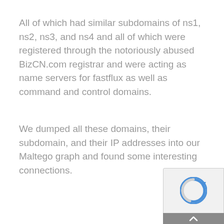All of which had similar subdomains of ns1, ns2, ns3, and ns4 and all of which were registered through the notoriously abused BizCN.com registrar and were acting as name servers for fastflux as well as command and control domains.
We dumped all these domains, their subdomain, and their IP addresses into our Maltego graph and found some interesting connections.